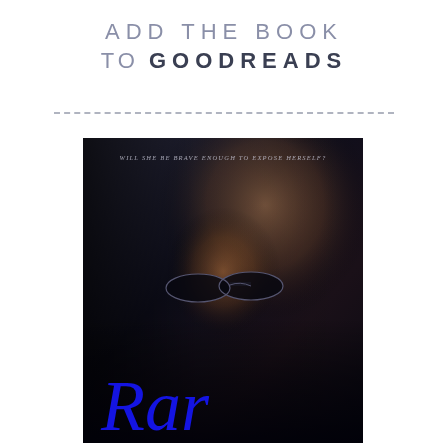ADD THE BOOK TO GOODREADS
[Figure (illustration): Dark book cover showing a man with sunglasses in a dramatic low-key lighting, with text 'WILL SHE BE BRAVE ENOUGH TO EXPOSE HERSELF?' at the top and a blue cursive title/script at the bottom.]